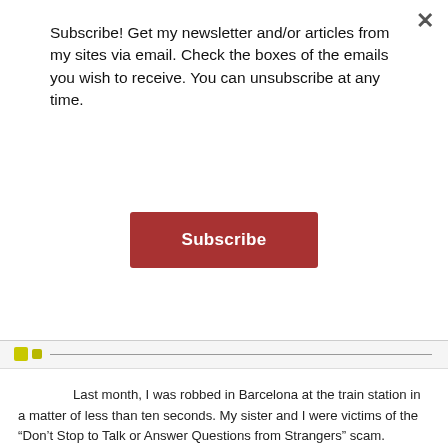Subscribe! Get my newsletter and/or articles from my sites via email. Check the boxes of the emails you wish to receive. You can unsubscribe at any time.
Subscribe
Last month, I was robbed in Barcelona at the train station in a matter of less than ten seconds. My sister and I were victims of the “Don’t Stop to Talk or Answer Questions from Strangers” scam.
This was my third time to Barcelona. I travel a LOT and had no problems with pickpockets before, so I think I was a little overconfident that nothing was going to happen since it hadn’t happened yet – I don’t even wear a money belt (warning!). I am usually very aware of my belongings wherever I am, but the one time I let my guard down – I was tired and this happened right